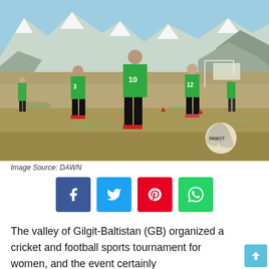[Figure (photo): Women playing football on a dirt field in the mountains of Gilgit-Baltistan. Players wearing green numbered bibs (numbers 3, 10, 12) and a SELECT brand soccer ball is visible in the foreground. Snow-capped mountains in the background.]
Image Source: DAWN
[Figure (infographic): Social media sharing buttons: Facebook (blue), Twitter (cyan), Pinterest (red), WhatsApp (green)]
The valley of Gilgit-Baltistan (GB) organized a cricket and football sports tournament for women, and the event certainly